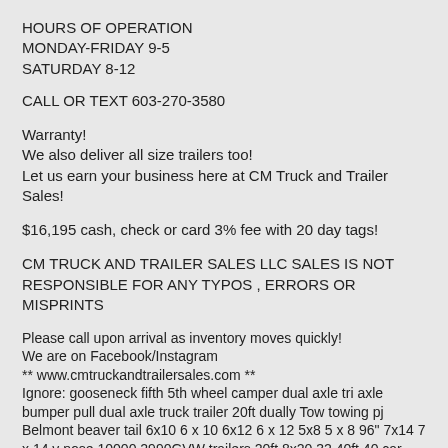HOURS OF OPERATION
MONDAY-FRIDAY 9-5
SATURDAY 8-12
CALL OR TEXT 603-270-3580
Warranty!
We also deliver all size trailers too!
Let us earn your business here at CM Truck and Trailer Sales!
$16,195 cash, check or card 3% fee with 20 day tags!
CM TRUCK AND TRAILER SALES LLC SALES IS NOT RESPONSIBLE FOR ANY TYPOS , ERRORS OR MISPRINTS
Please call upon arrival as inventory moves quickly!
We are on Facebook/Instagram
** www.cmtruckandtrailersales.com **
Ignore: gooseneck fifth 5th wheel camper dual axle tri axle bumper pull dual axle truck trailer 20ft dually Tow towing pj Belmont beaver tail 6x10 6 x 10 6x12 6 x 12 5x8 5 x 8 96" 7x14 7 x 14 v nose 10000 2990GVW trailers 20ft 8x20 32 40ft 40 car hauler wedge low boy tow towing tandem axle big tex rice riser belmont liberty triple crown